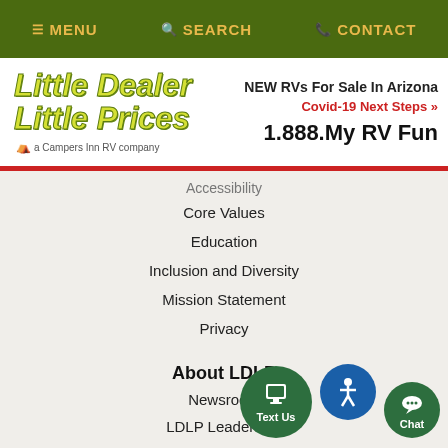MENU  SEARCH  CONTACT
[Figure (logo): Little Dealer Little Prices - a Campers Inn RV company logo]
NEW RVs For Sale In Arizona
Covid-19 Next Steps »
1.888.My RV Fun
Accessibility
Core Values
Education
Inclusion and Diversity
Mission Statement
Privacy
About LDLP
Newsroom
LDLP Leadership
Join Our Team
[Figure (infographic): Text Us button (green circle with phone icon) and Chat button (green circle with chat icon) and accessibility icon (blue circle)]